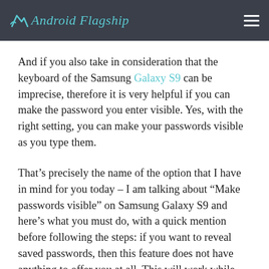Android Flagship
And if you also take in consideration that the keyboard of the Samsung Galaxy S9 can be imprecise, therefore it is very helpful if you can make the password you enter visible. Yes, with the right setting, you can make your passwords visible as you type them.
That’s precisely the name of the option that I have in mind for you today – I am talking about “Make passwords visible” on Samsung Galaxy S9 and here’s what you must do, with a quick mention before following the steps: if you want to reveal saved passwords, then this feature does not have anything to offer you at all. This will work while you are typing in your password and nothing more